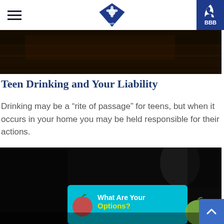Navigation bar with hamburger menu, Your Wealth Center logo, and BBB badge
[Figure (photo): Dark wooden surface / background banner image]
Teen Drinking and Your Liability
Drinking may be a “rite of passage” for teens, but when it occurs in your home you may be held responsible for their actions.
[Figure (photo): Hands holding a tablet displaying text 'What Are Your Options?' with fruit images on a teal background, in a dark room]